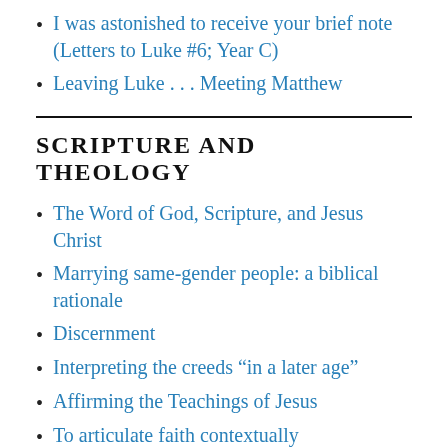I was astonished to receive your brief note (Letters to Luke #6; Year C)
Leaving Luke . . . Meeting Matthew
SCRIPTURE AND THEOLOGY
The Word of God, Scripture, and Jesus Christ
Marrying same-gender people: a biblical rationale
Discernment
Interpreting the creeds “in a later age”
Affirming the Teachings of Jesus
To articulate faith contextually
Let your gentleness be known to everyone…